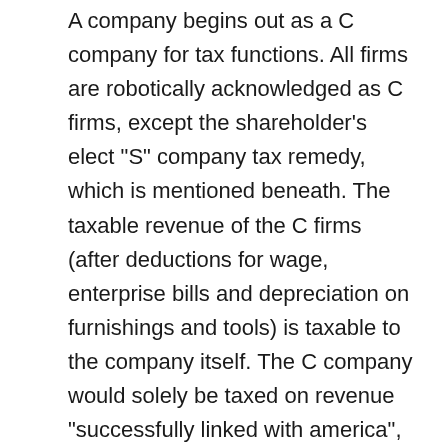A company begins out as a C company for tax functions. All firms are robotically acknowledged as C firms, except the shareholder's elect "S" company tax remedy, which is mentioned beneath. The taxable revenue of the C firms (after deductions for wage, enterprise bills and depreciation on furnishings and tools) is taxable to the company itself. The C company would solely be taxed on revenue "successfully linked with america", starting at a company tax fee of 15% for the primary $50,000 of company taxable revenue every year.

If the company is classed as a "private service